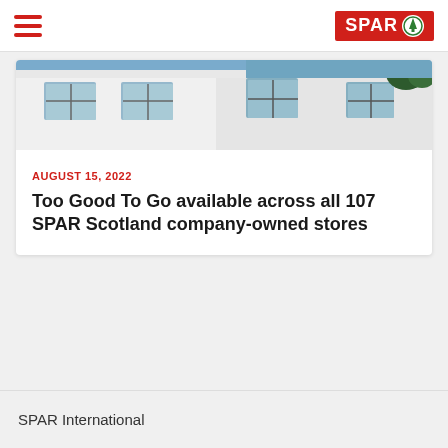SPAR
[Figure (photo): Exterior of a white-painted stone building with grey-framed windows and a blue sky with trees visible]
AUGUST 15, 2022
Too Good To Go available across all 107 SPAR Scotland company-owned stores
SPAR International